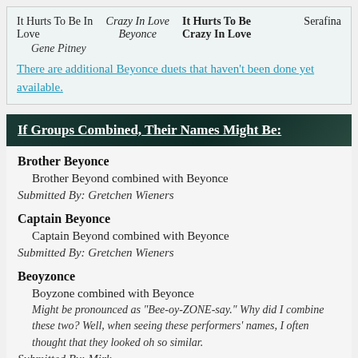| Col1 | Col2 | Col3 | Col4 |
| --- | --- | --- | --- |
| It Hurts To Be In Love | Crazy In Love
Beyonce | It Hurts To Be Crazy In Love | Serafina |
| Gene Pitney |  |  |  |
There are additional Beyonce duets that haven't been done yet available.
If Groups Combined, Their Names Might Be:
Brother Beyonce
Brother Beyond combined with Beyonce
Submitted By: Gretchen Wieners
Captain Beyonce
Captain Beyond combined with Beyonce
Submitted By: Gretchen Wieners
Beoyzonce
Boyzone combined with Beyonce
Might be pronounced as "Bee-oy-ZONE-say." Why did I combine these two? Well, when seeing these performers' names, I often thought that they looked oh so similar.
Submitted By: Mirk...